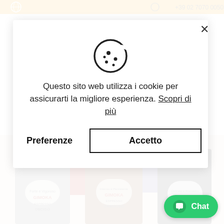[Figure (screenshot): Website header bar with yellow/gold background showing navigation icons and phone number]
[Figure (screenshot): Cookie consent modal dialog with cookie icon, Italian text about cookies, Preferenze and Accetto buttons]
Questo sito web utilizza i cookie per assicurarti la migliore esperienza. Scopri di più
Preferenze
Accetto
[Figure (photo): Gimoka espresso coffee capsule boxes: Intenso (red), Lungo 100% Arabica (purple), Deciso, Cremoso, Velluto displayed together]
Chat